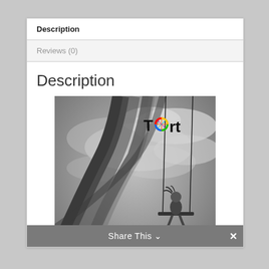Description
Reviews (0)
Description
[Figure (photo): Black and white book cover for 'Tort' published by Ruminate. Shows a child on a swing against a dramatic cloudy sky, with thick metal pipes/railings in the foreground left. The word 'Tort' appears in the upper right with a colorful circular logo replacing the 'o'. 'Ruminate' is printed at the bottom center.]
Share This ∨